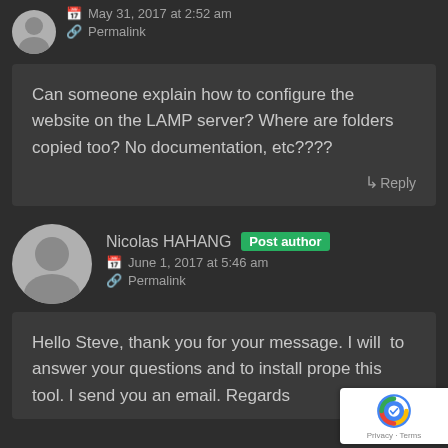May 31, 2017 at 2:52 am
Permalink
Can someone explain how to configure the website on the LAMP server? Where are folders copied too? No documentation, etc????
Reply
Nicolas HAHANG  Post author
June 1, 2017 at 5:46 am
Permalink
Hello Steve, thank you for your message. I will to answer your questions and to install prope this tool. I send you an email. Regards
[Figure (logo): reCAPTCHA badge with logo and Privacy - Terms text]